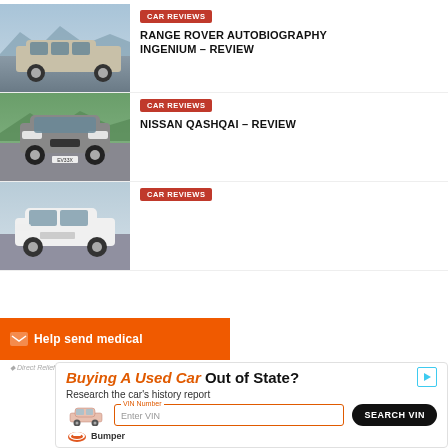[Figure (photo): Range Rover Autobiography side profile driving on road with mountains and sky in background]
CAR REVIEWS
RANGE ROVER AUTOBIOGRAPHY INGENIUM – REVIEW
[Figure (photo): Nissan Qashqai front view driving on road with green hills in background]
CAR REVIEWS
NISSAN QASHQAI – REVIEW
[Figure (photo): White SUV front three-quarter view driving on road]
CAR REVIEWS
[Figure (infographic): Orange Direct Relief advertisement banner: Help send medical]
[Figure (infographic): Bumper advertisement: Buying A Used Car Out of State? Research the car's history report. VIN Number input field. SEARCH VIN button. Bumper logo.]